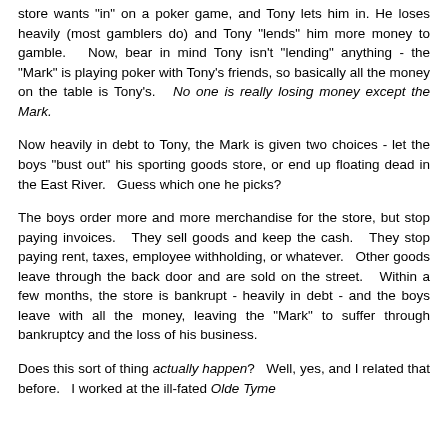store wants "in" on a poker game, and Tony lets him in. He loses heavily (most gamblers do) and Tony "lends" him more money to gamble. Now, bear in mind Tony isn't "lending" anything - the "Mark" is playing poker with Tony's friends, so basically all the money on the table is Tony's. No one is really losing money except the Mark.
Now heavily in debt to Tony, the Mark is given two choices - let the boys "bust out" his sporting goods store, or end up floating dead in the East River. Guess which one he picks?
The boys order more and more merchandise for the store, but stop paying invoices. They sell goods and keep the cash. They stop paying rent, taxes, employee withholding, or whatever. Other goods leave through the back door and are sold on the street. Within a few months, the store is bankrupt - heavily in debt - and the boys leave with all the money, leaving the "Mark" to suffer through bankruptcy and the loss of his business.
Does this sort of thing actually happen? Well, yes, and I related that before. I worked at the ill-fated Olde Tyme